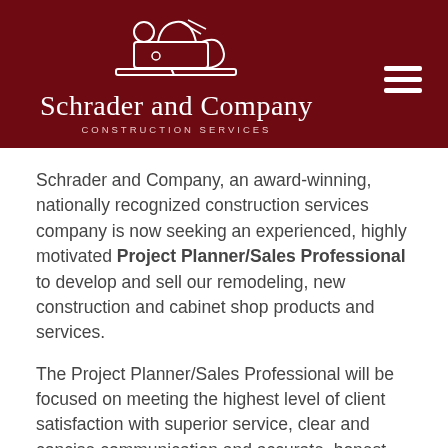[Figure (logo): Schrader and Company Construction Services logo with a woodworking plane tool illustration on a dark red/maroon background header bar]
Schrader and Company, an award-winning, nationally recognized construction services company is now seeking an experienced, highly motivated Project Planner/Sales Professional to develop and sell our remodeling, new construction and cabinet shop products and services.
The Project Planner/Sales Professional will be focused on meeting the highest level of client satisfaction with superior service, clear and concise communication and accurate, honest counsel. The services will be sold at an